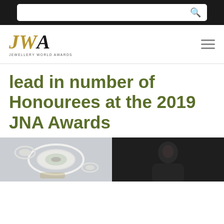[Search bar]
[Figure (logo): JWA - Jewellery World Awards logo with gold italic J and W letters and black italic A]
lead in number of Honourees at the 2019 JNA Awards
[Figure (photo): Two-panel image: left panel shows an interior ceiling with decorative circular lighting fixtures in a light/white room; right panel shows a dark portrait photo of a person]